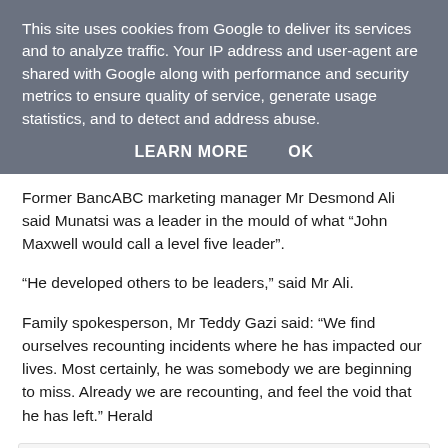This site uses cookies from Google to deliver its services and to analyze traffic. Your IP address and user-agent are shared with Google along with performance and security metrics to ensure quality of service, generate usage statistics, and to detect and address abuse.
LEARN MORE   OK
Former BancABC marketing manager Mr Desmond Ali said Munatsi was a leader in the mould of what “John Maxwell would call a level five leader”.
“He developed others to be leaders,” said Mr Ali.
Family spokesperson, Mr Teddy Gazi said: “We find ourselves recounting incidents where he has impacted our lives. Most certainly, he was somebody we are beginning to miss. Already we are recounting, and feel the void that he has left.” Herald
NewsdzeZimbabwe at Monday, December 06, 2021